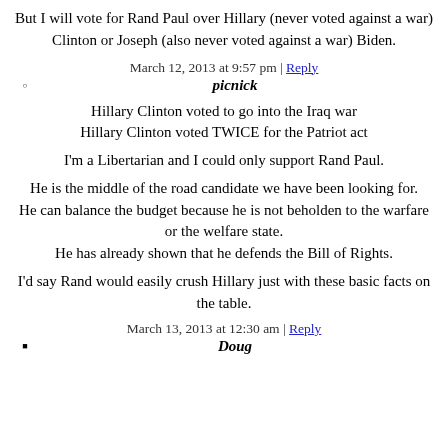But I will vote for Rand Paul over Hillary (never voted against a war) Clinton or Joseph (also never voted against a war) Biden.
March 12, 2013 at 9:57 pm | Reply
picnick
Hillary Clinton voted to go into the Iraq war
Hillary Clinton voted TWICE for the Patriot act
I'm a Libertarian and I could only support Rand Paul.
He is the middle of the road candidate we have been looking for.
He can balance the budget because he is not beholden to the warfare or the welfare state.
He has already shown that he defends the Bill of Rights.
I'd say Rand would easily crush Hillary just with these basic facts on the table.
March 13, 2013 at 12:30 am | Reply
Doug